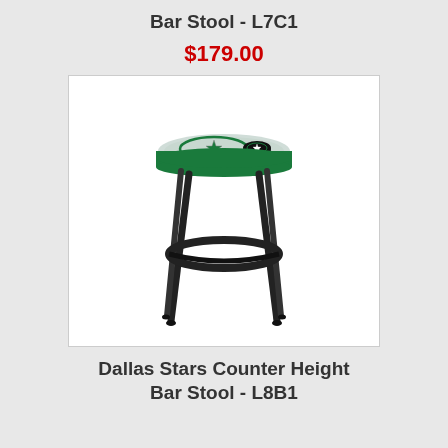Bar Stool - L7C1
$179.00
[Figure (photo): Dallas Stars Counter Height Bar Stool with green padded seat featuring Dallas Stars NHL logo and hockey puck graphic, black metal frame with ring footrest]
Dallas Stars Counter Height Bar Stool - L8B1